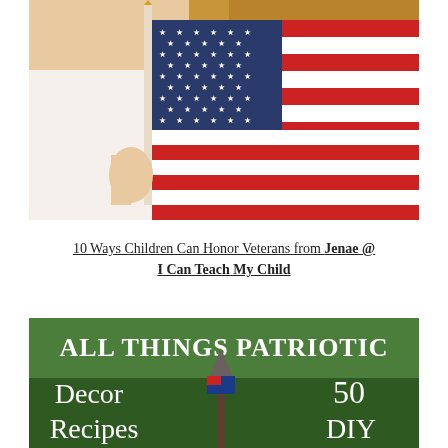[Figure (photo): A child holding an American flag in front of their face, peeking over the top. The flag shows the blue canton with white stars and red and white stripes.]
10 Ways Children Can Honor Veterans from Jenae @ I Can Teach My Child
[Figure (photo): A green grass background with text overlay reading 'ALL THINGS PATRIOTIC' and below that 'Decor', 'Recipes', '50', 'DIY'. A small patriotic figurine/gnome is visible in the center.]